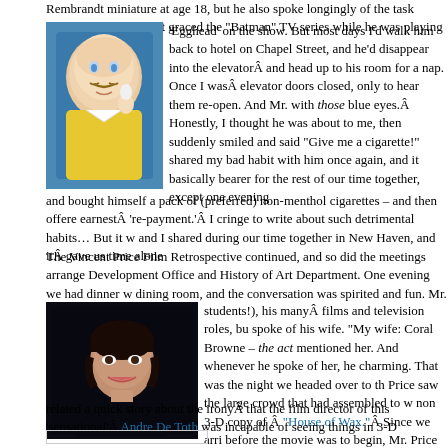Rembrandt miniature at age 18, but he also spoke longingly of the task modern and Eggs that graced the "Batman" TV series while he was playing the nefarious 'Egghead' on the show. But most days I'd walk him back to hotel on Chapel Street, and he'd disappear into the elevatorÂ and head up to his room for a nap. Once I wasÂ elevator doors closed, only to hear them re-open. And Mr. with those blue eyes.Â Honestly, I thought he was about to me, then suddenly smiled and said "Give me a cigarette!" shared my bad habit with him once again, and it basically bearer for the rest of our time together, except one evening and bought himself a pack of (preferred) non-menthol cigarettes – and then offer earnestÂ 're-payment.'Â I cringe to write about such detrimental habits… But it w and I shared during our time together in New Haven, and itÂ gave us time alone
[Figure (photo): Photo of a bald man with a mustache holding an egg, dressed as Egghead from Batman TV series]
The Vincent Price Film Retrospective continued, and so did the meetings arrange Development Office and History of Art Department. One evening we had dinner w dining room, and the conversation was spirited and fun. Mr. Price talked about ar students!), his manyÂ films and television roles, bu spoke of his wife. "My wife: Coral Browne – the act mentioned her. And whenever he spoke of her, he charming. That was the night we headed over to th Price saw the large crowd that had assembled to w non 3-D copy of Â "House of Wax."Â Since we arri before the movie was to begin, Mr. Price thanked t related a quick story about the ironyÂ that the film director of this 'sensational'Â Andre De Toth was incapable of seeing things in 3-D
[Figure (photo): Photo of a woman smiling, likely Coral Browne]
Andre De Toth was incapable of seeing things in 3-D